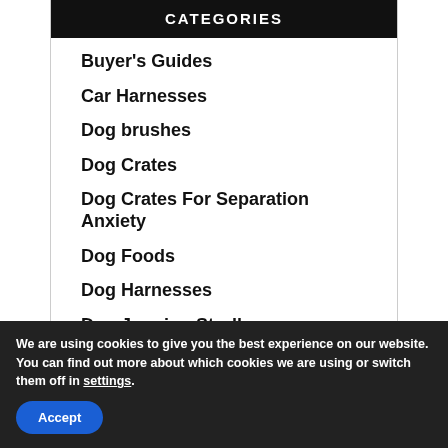CATEGORIES
Buyer's Guides
Car Harnesses
Dog brushes
Dog Crates
Dog Crates For Separation Anxiety
Dog Foods
Dog Harnesses
Dog Jogging Strollers
We are using cookies to give you the best experience on our website.
You can find out more about which cookies we are using or switch them off in settings.
Accept